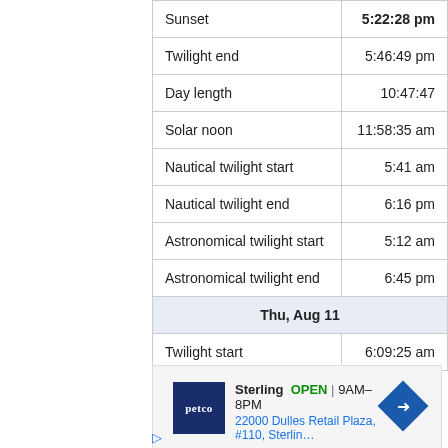|  |  |
| --- | --- |
| Sunset | 5:22:28 pm |
| Twilight end | 5:46:49 pm |
| Day length | 10:47:47 |
| Solar noon | 11:58:35 am |
| Nautical twilight start | 5:41 am |
| Nautical twilight end | 6:16 pm |
| Astronomical twilight start | 5:12 am |
| Astronomical twilight end | 6:45 pm |
| Thu, Aug 11 |  |
| Twilight start | 6:09:25 am |
[Figure (other): Petco advertisement showing store location in Sterling, OPEN 9AM-8PM, address 22000 Dulles Retail Plaza, #110, Sterling]